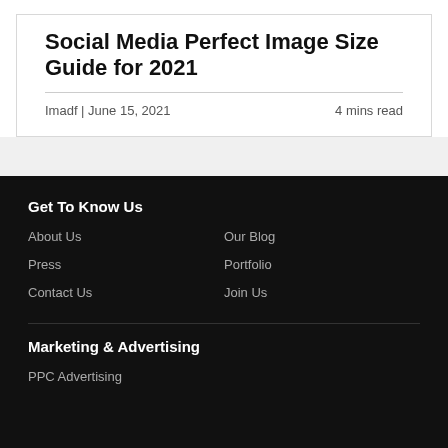Social Media Perfect Image Size Guide for 2021
Imadf | June 15, 2021    4 mins read
Get To Know Us
About Us
Our Blog
Press
Portfolio
Contact Us
Join Us
Marketing & Advertising
PPC Advertising